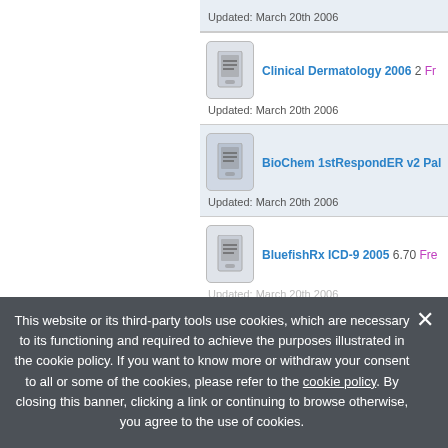Updated: March 20th 2006
Clinical Dermatology 2006  2  Free
Updated: March 20th 2006
BioChem 1stRespondER v2 Palm
Updated: March 20th 2006
BluefishRx ICD-9 2005  6.70  Free
Updated: March 20th 2006
This website or its third-party tools use cookies, which are necessary to its functioning and required to achieve the purposes illustrated in the cookie policy. If you want to know more or withdraw your consent to all or some of the cookies, please refer to the cookie policy. By closing this banner, clicking a link or continuing to browse otherwise, you agree to the use of cookies.